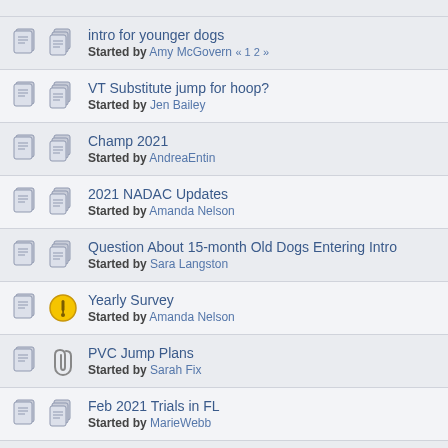intro for younger dogs — Started by Amy McGovern « 1 2 »
VT Substitute jump for hoop? — Started by Jen Bailey
Champ 2021 — Started by AndreaEntin
2021 NADAC Updates — Started by Amanda Nelson
Question About 15-month Old Dogs Entering Intro — Started by Sara Langston
Yearly Survey — Started by Amanda Nelson
PVC Jump Plans — Started by Sarah Fix
Feb 2021 Trials in FL — Started by MarieWebb
Hoopers Program - Timing of Potential Changes — Started by ...